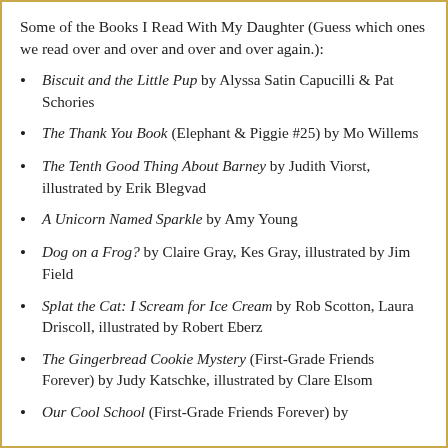Some of the Books I Read With My Daughter (Guess which ones we read over and over and over and over again.):
Biscuit and the Little Pup by Alyssa Satin Capucilli & Pat Schories
The Thank You Book (Elephant & Piggie #25) by Mo Willems
The Tenth Good Thing About Barney by Judith Viorst, illustrated by Erik Blegvad
A Unicorn Named Sparkle by Amy Young
Dog on a Frog? by Claire Gray, Kes Gray, illustrated by Jim Field
Splat the Cat: I Scream for Ice Cream by Rob Scotton, Laura Driscoll, illustrated by Robert Eberz
The Gingerbread Cookie Mystery (First-Grade Friends Forever) by Judy Katschke, illustrated by Clare Elsom
Our Cool School (First-Grade Friends Forever) by